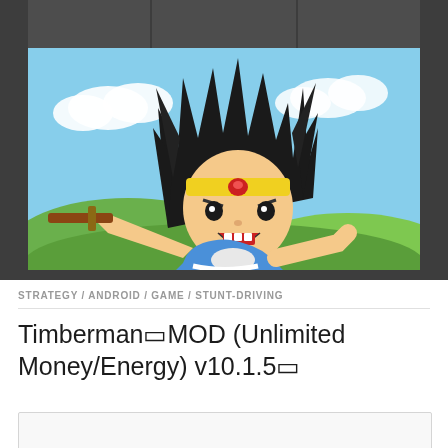[Figure (illustration): Anime-style character illustration: a spiky dark-haired boy wearing a yellow headband with a red gem, blue outfit, holding a weapon, with an aggressive expression. Sky background with clouds and green hills. Dark grey bars/columns frame the top and sides.]
STRATEGY / ANDROID / GAME / STUNT-DRIVING
Timberman MOD (Unlimited Money/Energy) v10.1.5